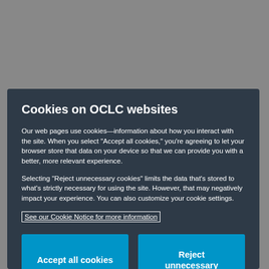[Figure (screenshot): Gray background representing a dimmed webpage behind a cookie consent modal dialog.]
Cookies on OCLC websites
Our web pages use cookies—information about how you interact with the site. When you select “Accept all cookies,” you’re agreeing to let your browser store that data on your device so that we can provide you with a better, more relevant experience.
Selecting “Reject unnecessary cookies” limits the data that’s stored to what’s strictly necessary for using the site. However, that may negatively impact your experience. You can also customize your cookie settings.
See our Cookie Notice for more information
Accept all cookies
Reject unnecessary